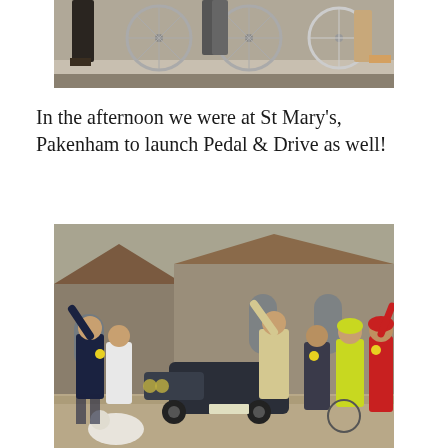[Figure (photo): Close-up of bicycle wheels and people's legs standing near bicycles on steps or pavement]
In the afternoon we were at St Mary's, Pakenham to launch Pedal & Drive as well!
[Figure (photo): Group of people standing in front of a stone church with a vintage car and bicycles; people wearing high-visibility vests and helmets, one person in red cycling gear, a dog in the foreground]